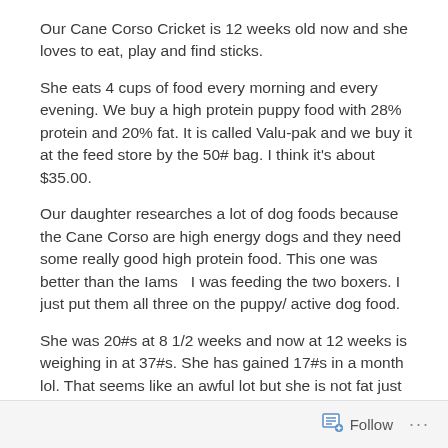Our Cane Corso Cricket is 12 weeks old now and she loves to eat, play and find sticks.
She eats 4 cups of food every morning and every evening. We buy a high protein puppy food with 28% protein and 20% fat. It is called Valu-pak and we buy it at the feed store by the 50# bag. I think it's about $35.00.
Our daughter researches a lot of dog foods because the Cane Corso are high energy dogs and they need some really good high protein food. This one was better than the Iams  I was feeding the two boxers. I just put them all three on the puppy/ active dog food.
She was 20#s at 8 1/2 weeks and now at 12 weeks is weighing in at 37#s. She has gained 17#s in a month lol. That seems like an awful lot but she is not fat just
Follow ···